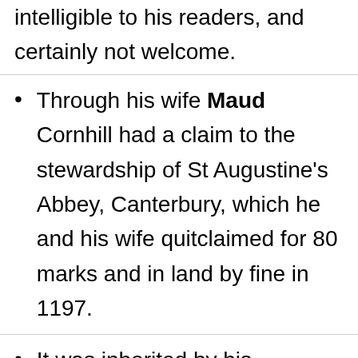expression which were scarcely intelligible to his readers, and certainly not welcome.
Through his wife Maud Cornhill had a claim to the stewardship of St Augustine's Abbey, Canterbury, which he and his wife quitclaimed for 80 marks and in land by fine in 1197.
It was inherited by his daughter Maud, who was married first to Simon de St Albans, afterwards to David...